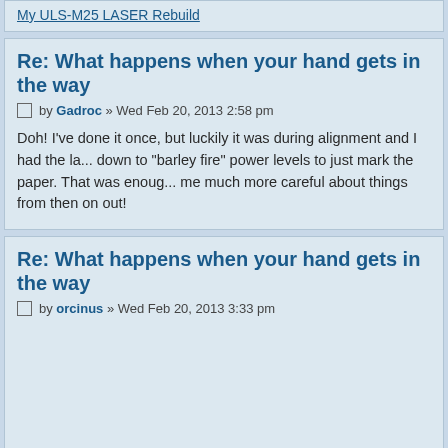My ULS-M25 LASER Rebuild
Re: What happens when your hand gets in the way
by Gadroc » Wed Feb 20, 2013 2:58 pm
Doh! I've done it once, but luckily it was during alignment and I had the laser turned down to "barley fire" power levels to just mark the paper. That was enough to make me much more careful about things from then on out!
Re: What happens when your hand gets in the way
by orcinus » Wed Feb 20, 2013 3:33 pm